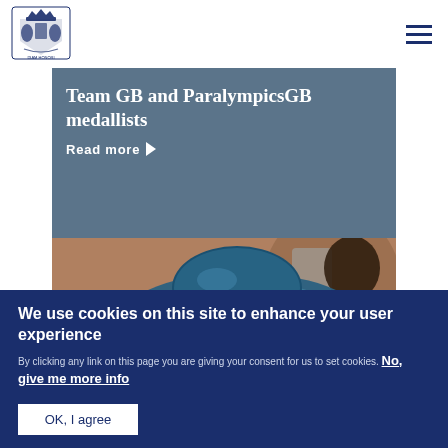[Figure (logo): UK Royal coat of arms / official government logo in blue and gold]
Team GB and ParalympicsGB medallists
Read more ▶
[Figure (photo): Close-up photograph of a blue hat, with a person in background]
We use cookies on this site to enhance your user experience
By clicking any link on this page you are giving your consent for us to set cookies. No, give me more info
OK, I agree